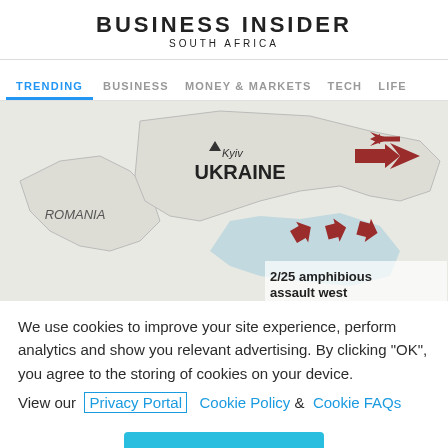BUSINESS INSIDER
SOUTH AFRICA
TRENDING   BUSINESS   MONEY & MARKETS   TECH   LIFE
[Figure (map): Map showing Ukraine with Kyiv labeled, Romania visible in the lower left, and red arrows indicating military movements. Text reads '2/25 amphibious assault west'. Blue-gray shading over the Black Sea/Crimea area.]
We use cookies to improve your site experience, perform analytics and show you relevant advertising. By clicking "OK", you agree to the storing of cookies on your device. View our Privacy Portal  Cookie Policy &  Cookie FAQs